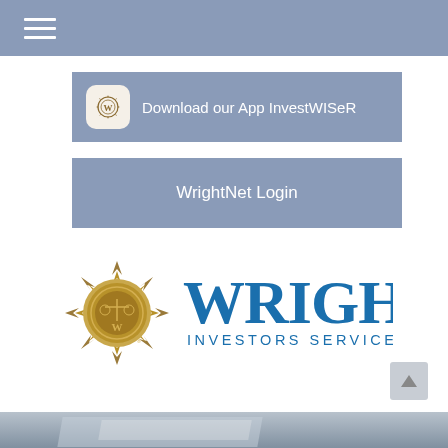[Figure (screenshot): Navigation bar with hamburger menu icon (three horizontal white lines) on blue-grey background]
[Figure (screenshot): Blue-grey button with app icon (ornate circular badge) and text 'Download our App InvestWISeR']
WrightNet Login
[Figure (logo): Wright Investors Service, Inc. logo - gold ornate star/badge emblem on the left, 'WRIGHT' in large blue serif text, 'INVESTORS SERVICE, INC.' in smaller blue spaced text below]
[Figure (photo): Partial photo at bottom of page showing blurred papers/documents]